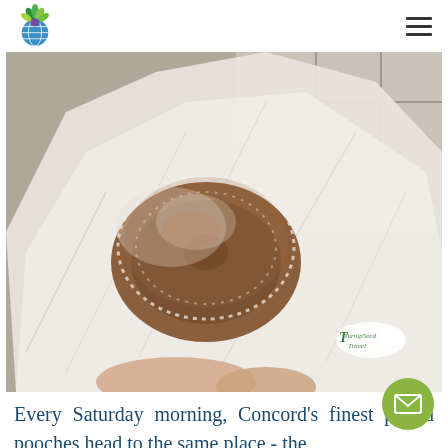Turnipseed Travel logo and navigation menu
[Figure (photo): A sugar-coated donut held in a piece of wax/plastic wrapper paper, with tiled ground visible in the background. A Turnipseed Travel watermark logo appears in the bottom-right corner of the photo.]
Every Saturday morning, Concord's finest p and pooches head to the same place - the